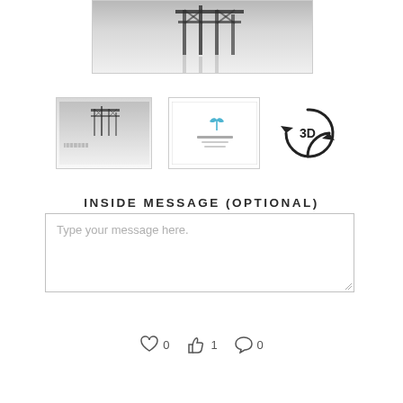[Figure (photo): Black and white long-exposure photo of a wooden pier/dock structure reflected in still water, shown as a cropped top portion]
[Figure (photo): Thumbnail of the pier photo — black and white, small version]
[Figure (photo): Thumbnail showing a greeting card preview with small icon and text lines]
[Figure (other): 3D rotation icon — circular arrows with '3D' text inside]
INSIDE MESSAGE (OPTIONAL)
Type your message here.
0  1  0